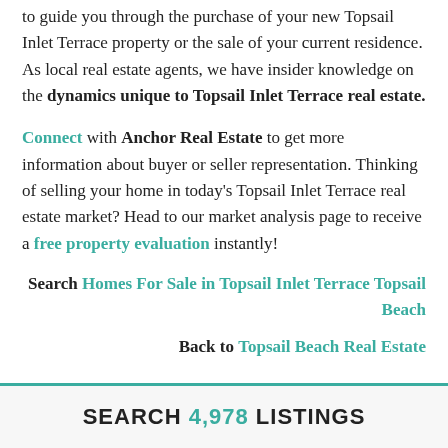to guide you through the purchase of your new Topsail Inlet Terrace property or the sale of your current residence. As local real estate agents, we have insider knowledge on the dynamics unique to Topsail Inlet Terrace real estate.
Connect with Anchor Real Estate to get more information about buyer or seller representation. Thinking of selling your home in today's Topsail Inlet Terrace real estate market? Head to our market analysis page to receive a free property evaluation instantly!
Search Homes For Sale in Topsail Inlet Terrace Topsail Beach
Back to Topsail Beach Real Estate
SEARCH 4,978 LISTINGS